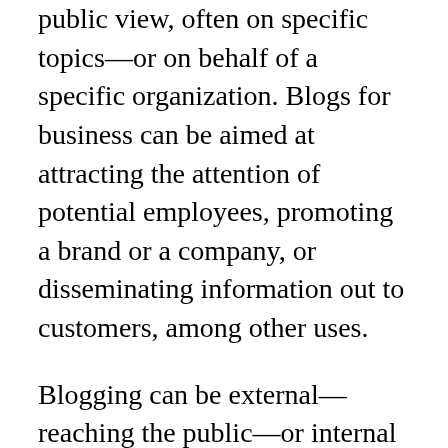public view, often on specific topics—or on behalf of a specific organization. Blogs for business can be aimed at attracting the attention of potential employees, promoting a brand or a company, or disseminating information out to customers, among other uses.
Blogging can be external—reaching the public—or internal—to improve business processes. For example, Marsh Inc., a global risk management and insurance broker, uses blogs internally for training. When the company wanted to teach finance to one employee group, it did not enlist instructional designers or vendors to create or tailor traditional training